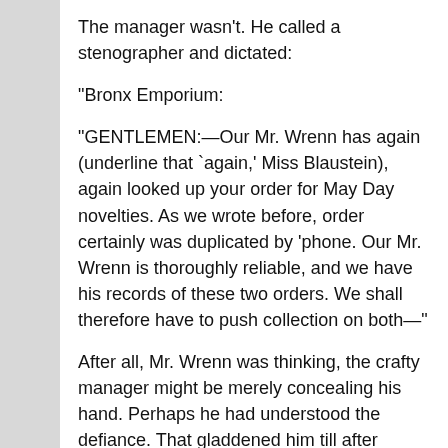The manager wasn't. He called a stenographer and dictated:
"Bronx Emporium:
"GENTLEMEN:—Our Mr. Wrenn has again (underline that `again,' Miss Blaustein), again looked up your order for May Day novelties. As we wrote before, order certainly was duplicated by 'phone. Our Mr. Wrenn is thoroughly reliable, and we have his records of these two orders. We shall therefore have to push collection on both—"
After all, Mr. Wrenn was thinking, the crafty manager might be merely concealing his hand. Perhaps he had understood the defiance. That gladdened him till after lunch. But at